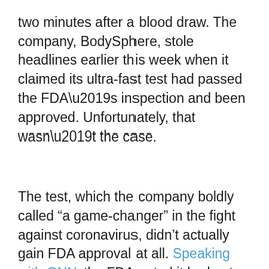two minutes after a blood draw. The company, BodySphere, stole headlines earlier this week when it claimed its ultra-fast test had passed the FDA’s inspection and been approved. Unfortunately, that wasn’t the case.
The test, which the company boldly called “a game-changer” in the fight against coronavirus, didn’t actually gain FDA approval at all. Speaking with CNN, the FDA noted it had not approved any such test and that it wasn’t sure